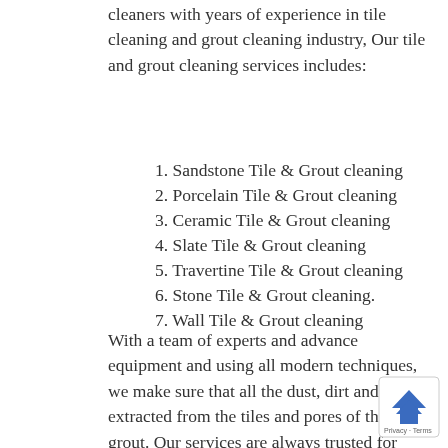cleaners with years of experience in tile cleaning and grout cleaning industry, Our tile and grout cleaning services includes:
1. Sandstone Tile & Grout cleaning
2. Porcelain Tile & Grout cleaning
3. Ceramic Tile & Grout cleaning
4. Slate Tile & Grout cleaning
5. Travertine Tile & Grout cleaning
6. Stone Tile & Grout cleaning.
7. Wall Tile & Grout cleaning
With a team of experts and advance equipment and using all modern techniques, we make sure that all the dust, dirt and soil is extracted from the tiles and pores of the grout. Our services are always trusted for their quality, timeliness and customer satisfaction. We have been known to provide the best tile and grout cleaning Wolffdene